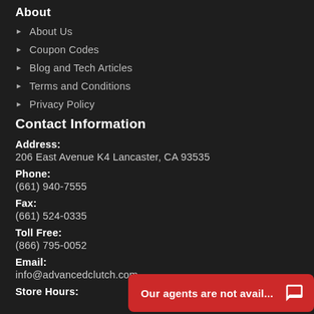About
About Us
Coupon Codes
Blog and Tech Articles
Terms and Conditions
Privacy Policy
Contact Information
Address:
206 East Avenue K4 Lancaster, CA 93535
Phone:
(661) 940-7555
Fax:
(661) 524-0335
Toll Free:
(866) 795-0052
Email:
info@advancedclutch.com
Store Hours:
[Figure (other): Chat widget overlay: red button with text 'Our agents are not avail...' and chat bubble icon]